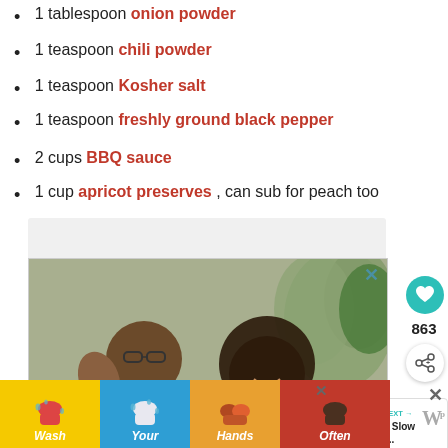1 tablespoon onion powder
1 teaspoon chili powder
1 teaspoon Kosher salt
1 teaspoon freshly ground black pepper
2 cups BBQ sauce
1 cup apricot preserves , can sub for peach too
[Figure (photo): Advertisement photo showing a man and young girl sitting on a couch with a laptop, waving and smiling. Ad for #AloneTogether campaign.]
[Figure (infographic): Bottom banner advertisement with colorful sections (yellow, blue, orange, red) showing hand-washing icons with text 'Wash Your Hands Often']